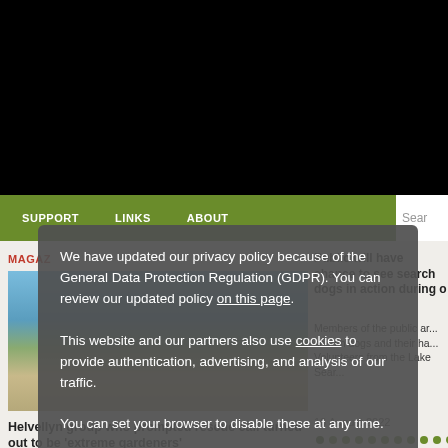[Figure (screenshot): Black header bar at top of webpage]
SUPPORT   LINKS   ABOUT   Sear
MAGAZ
[Figure (photo): Landscape photo of mountains and lake with blue sky]
Public will have chance to see search dogs in action during op...
Members of the public ar... search dogs and their ha... Volunteers from the Lake Sear...
16 August 2022
Helvellyn group who prompted rescue call turned out to be 'extreme gardeners'
A g... third-highest mountain turned out to be 'extreme gardeners' according to rescuers who were called to investigate
We have updated our privacy policy because of the General Data Protection Regulation (GDPR). You can review our updated policy on this page.

This website and our partners also use cookies to provide authentication, advertising, and analysis of our traffic.

You can set your browser to disable these at any time.
I understand